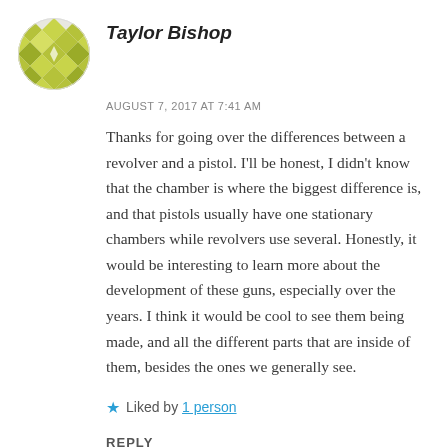[Figure (illustration): Circular avatar with yellow/olive diamond and star pattern on white background]
Taylor Bishop
AUGUST 7, 2017 AT 7:41 AM
Thanks for going over the differences between a revolver and a pistol. I'll be honest, I didn't know that the chamber is where the biggest difference is, and that pistols usually have one stationary chambers while revolvers use several. Honestly, it would be interesting to learn more about the development of these guns, especially over the years. I think it would be cool to see them being made, and all the different parts that are inside of them, besides the ones we generally see.
★ Liked by 1 person
REPLY